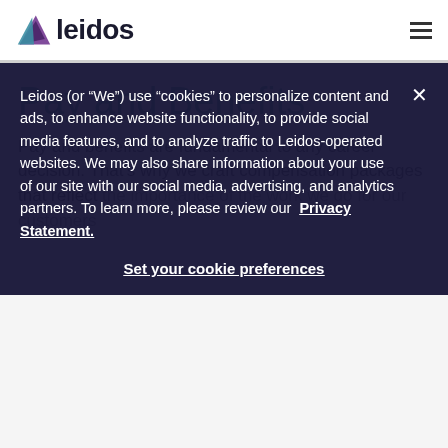leidos
Pay and Benefits
Pay and benefits are fundamental to any career decision. That's why we craft compensation packages that reflect the importance of the work we do for our customers
Leidos (or “We”) use “cookies” to personalize content and ads, to enhance website functionality, to provide social media features, and to analyze traffic to Leidos-operated websites. We may also share information about your use of our site with our social media, advertising, and analytics partners. To learn more, please review our Privacy Statement.
Set your cookie preferences